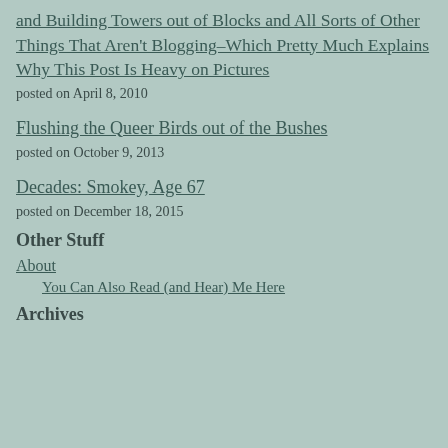and Building Towers out of Blocks and All Sorts of Other Things That Aren't Blogging–Which Pretty Much Explains Why This Post Is Heavy on Pictures
posted on April 8, 2010
Flushing the Queer Birds out of the Bushes
posted on October 9, 2013
Decades: Smokey, Age 67
posted on December 18, 2015
Other Stuff
About
You Can Also Read (and Hear) Me Here
Archives